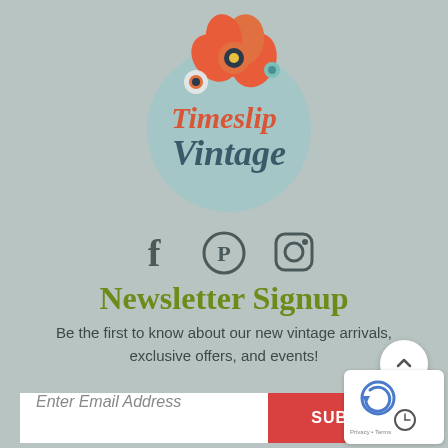[Figure (logo): Timeslip Vintage logo with circular teal background, decorative flower on top, and stylized text 'Timeslip Vintage']
[Figure (infographic): Social media icons: Facebook, Pinterest, Instagram]
Newsletter Signup
Be the first to know about our new vintage arrivals, exclusive offers, and events!
Enter Email Address
SUBSCR...